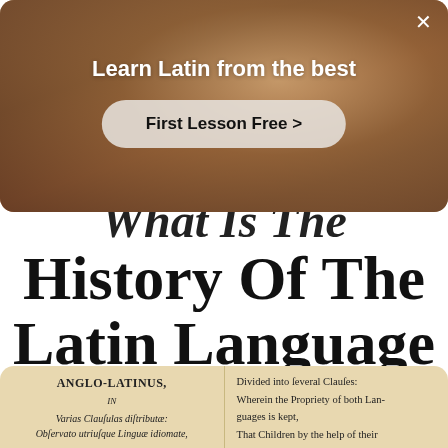[Figure (photo): Advertisement overlay showing a person in a room with text 'Learn Latin from the best' and a 'First Lesson Free >' button, with a close X button in the top right corner.]
What Is The History Of The Latin Language
Emma · 21 June 2018
7 minutes to read
[Figure (photo): Old book open showing Anglo-Latin text in two columns. Left column reads: ANGLO-LATINUS, IN Varias Clausulas distributae: Observato utriusque Linguae idiomate. Right column reads: Divided into several Clauses: Wherein the Propriety of both Languages is kept, That Children by the help of their]